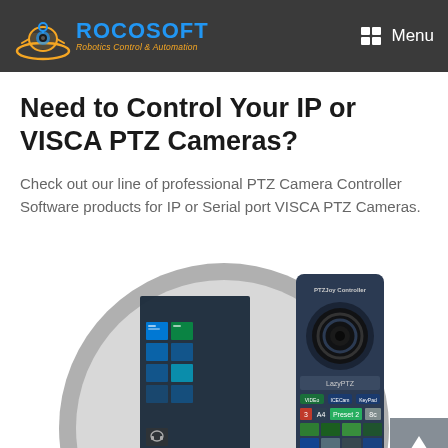ROCOSOFT Robotics Control & Automation — Menu
Need to Control Your IP or VISCA PTZ Cameras?
Check out our line of professional PTZ Camera Controller Software products for IP or Serial port VISCA PTZ Cameras.
[Figure (screenshot): Screenshot showing a PTZ Joy Controller software interface on a Windows desktop, partially overlaid on a large circular gray graphic. The controller UI shows a joystick at top, LazyPTZ label, tabs for Video, ICECam, and KeyPad, camera preset thumbnails, and a grid of camera feed thumbnails. Behind it is a Windows Start Menu with various app tiles including Netflix.]